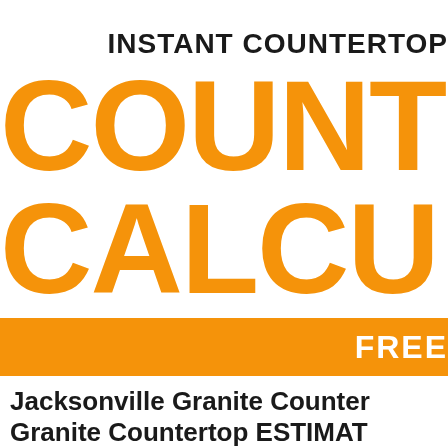INSTANT COUNTERTOP COUNTER CALCULATOR FREE Jacksonville Granite Countertop Granite Countertop ESTIMATOR
Jacksonville Granite Countertop Granite Countertop ESTIMATOR